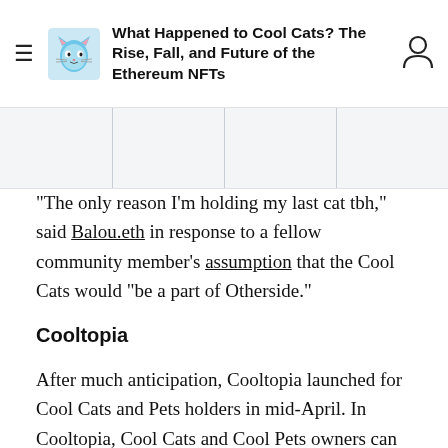What Happened to Cool Cats? The Rise, Fall, and Future of the Ethereum NFTs
“The only reason I’m holding my last cat tbh,” said Balou.eth in response to a fellow community member’s assumption that the Cool Cats would “be a part of Otherside.”
Cooltopia
After much anticipation, Cooltopia launched for Cool Cats and Pets holders in mid-April. In Cooltopia, Cool Cats and Cool Pets owners can complete quests to earn MILK, the collection’s